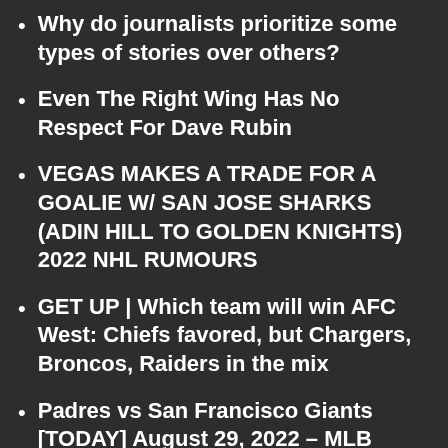Why do journalists prioritize some types of stories over others?
Even The Right Wing Has No Respect For Dave Rubin
VEGAS MAKES A TRADE FOR A GOALIE W/ SAN JOSE SHARKS (ADIN HILL TO GOLDEN KNIGHTS) 2022 NHL RUMOURS
GET UP | Which team will win AFC West: Chiefs favored, but Chargers, Broncos, Raiders in the mix
Padres vs San Francisco Giants [TODAY] August 29, 2022 – MLB Highlights | MLB Season 2022